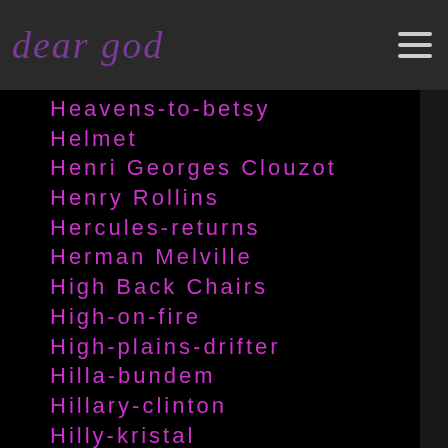deer god
Heavens-to-betsy
Helmet
Henri Georges Clouzot
Henry Rollins
Hercules-returns
Herman Melville
High Back Chairs
High-on-fire
High-plains-drifter
Hilla-bundem
Hillary-clinton
Hilly-kristal
Hinduism
Hipbone-records
Hiphop
Hip Hop
Hippo Campus